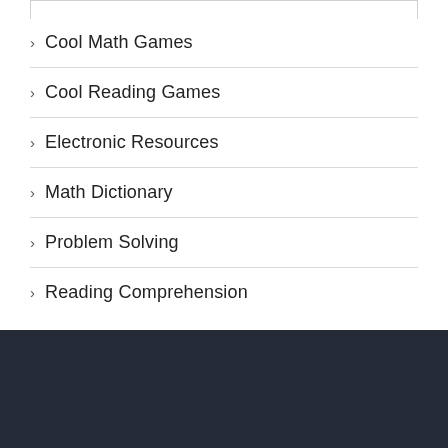Cool Math Games
Cool Reading Games
Electronic Resources
Math Dictionary
Problem Solving
Reading Comprehension